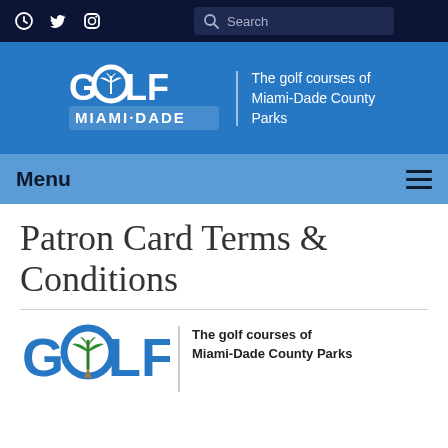Golf Miami-Dade – website header with social icons and search bar
[Figure (logo): Golf Miami-Dade logo – GOLF MIAMI-DADE with palm tree icon and tagline 'The golf courses of Miami-Dade County Parks']
Menu
Patron Card Terms & Conditions
[Figure (logo): Golf Miami-Dade logo (large) with tagline 'The golf courses of Miami-Dade County Parks' – partial, bottom of page]